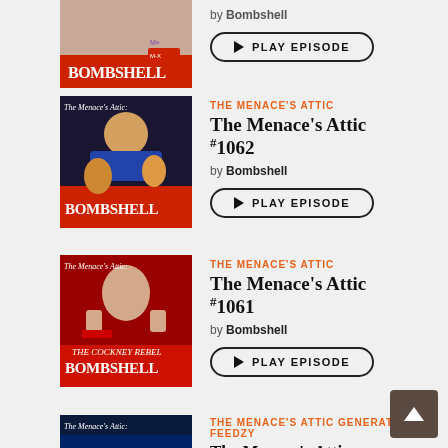[Figure (photo): Partial thumbnail for Bombshell podcast episode at top, partially cropped]
by Bombshell
PLAY EPISODE
THE MENACE'S ATTIC
The Menace's Attic #1062
by Bombshell
PLAY EPISODE
THE MENACE'S ATTIC
The Menace's Attic #1061
by Bombshell
PLAY EPISODE
[Figure (photo): Partial thumbnail for The Menace's Attic at bottom, partially cropped]
THE MENACE'S ATTIC
The Menace's Attic
Generated by Feedzy